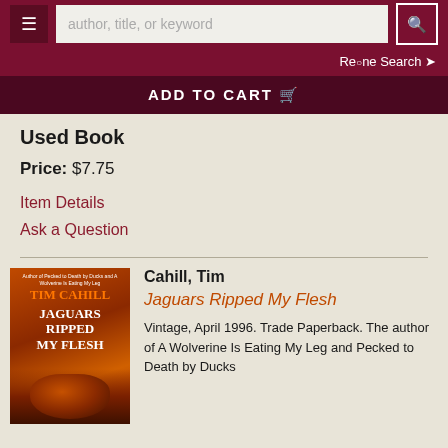author, title, or keyword
Refine Search
ADD TO CART
Used Book
Price: $7.75
Item Details
Ask a Question
[Figure (photo): Book cover of 'Jaguars Ripped My Flesh' by Tim Cahill, showing a jaguar face with orange and dark tones]
Cahill, Tim
Jaguars Ripped My Flesh
Vintage, April 1996. Trade Paperback. The author of A Wolverine Is Eating My Leg and Pecked to Death by Ducks